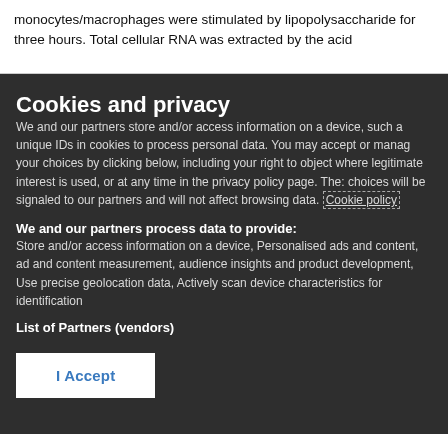monocytes/macrophages were stimulated by lipopolysaccharide for three hours. Total cellular RNA was extracted by the acid
Cookies and privacy
We and our partners store and/or access information on a device, such as unique IDs in cookies to process personal data. You may accept or manage your choices by clicking below, including your right to object where legitimate interest is used, or at any time in the privacy policy page. These choices will be signaled to our partners and will not affect browsing data. Cookie policy
We and our partners process data to provide:
Store and/or access information on a device, Personalised ads and content, ad and content measurement, audience insights and product development, Use precise geolocation data, Actively scan device characteristics for identification
List of Partners (vendors)
I Accept